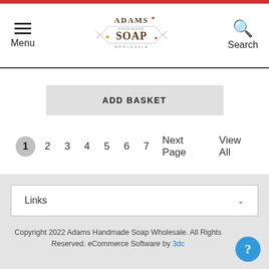Adams Handmade Soap Wholesale — Menu | Search
ADD BASKET
1  2  3  4  5  6  7  Next Page  View All
Links
Copyright 2022 Adams Handmade Soap Wholesale. All Rights Reserved. eCommerce Software by 3dc